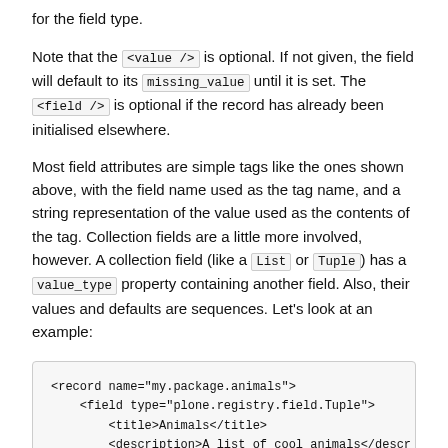for the field type.
Note that the <value /> is optional. If not given, the field will default to its missing_value until it is set. The <field /> is optional if the record has already been initialised elsewhere.
Most field attributes are simple tags like the ones shown above, with the field name used as the tag name, and a string representation of the value used as the contents of the tag. Collection fields are a little more involved, however. A collection field (like a List or Tuple) has a value_type property containing another field. Also, their values and defaults are sequences. Let’s look at an example:
<record name="my.package.animals">
    <field type="plone.registry.field.Tuple">
        <title>Animals</title>
        <description>A list of cool animals</descr
        <value_type type="plone.registry.field.Tex
    </field>